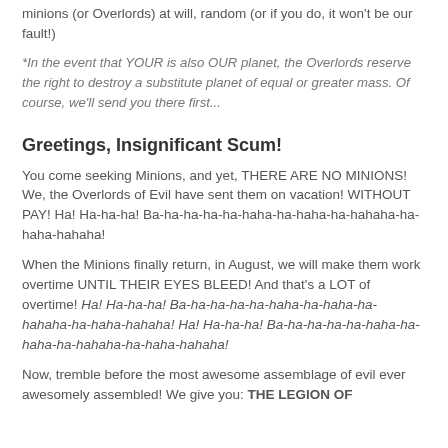minions (or Overlords) at will, random (or if you do, it won't be our fault!)
*In the event that YOUR is also OUR planet, the Overlords reserve the right to destroy a substitute planet of equal or greater mass. Of course, we'll send you there first...
Greetings, Insignificant Scum!
You come seeking Minions, and yet, THERE ARE NO MINIONS! We, the Overlords of Evil have sent them on vacation! WITHOUT PAY! Ha! Ha-ha-ha! Ba-ha-ha-ha-ha-haha-ha-haha-ha-hahaha-ha-haha-hahaha!
When the Minions finally return, in August, we will make them work overtime UNTIL THEIR EYES BLEED! And that's a LOT of overtime! Ha! Ha-ha-ha! Ba-ha-ha-ha-ha-haha-ha-haha-ha-hahaha-ha-haha-hahaha! Ha! Ha-ha-ha! Ba-ha-ha-ha-ha-haha-ha-haha-ha-hahaha-ha-haha-hahaha!
Now, tremble before the most awesome assemblage of evil ever awesomely assembled! We give you: THE LEGION OF